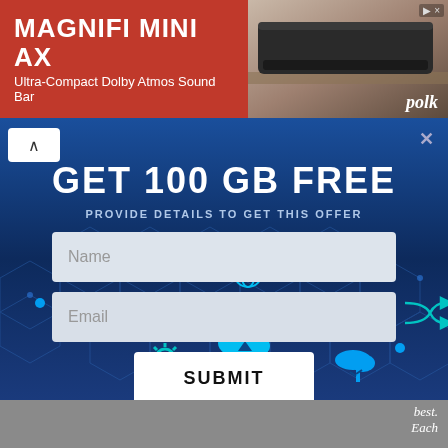[Figure (advertisement): Ad banner for MAGNIFI MINI AX Ultra-Compact Dolby Atmos Sound Bar by Polk, showing speaker image on brown/wooden shelf background]
GET 100 GB FREE
PROVIDE DETAILS TO GET THIS OFFER
Name (input field placeholder)
Email (input field placeholder)
SUBMIT
[Figure (illustration): Dark blue hexagonal network background with glowing cyan technology icons: settings gear, cloud upload, home, shuffle, refresh arrows, cloud with tree]
best.

Each